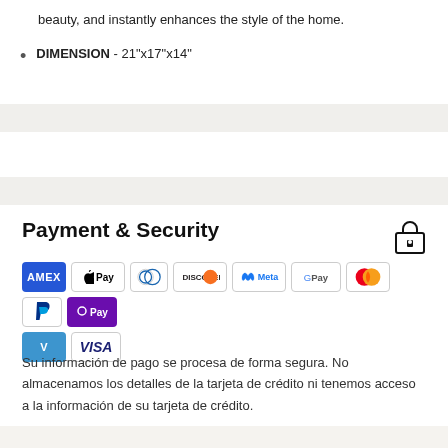beauty, and instantly enhances the style of the home.
DIMENSION - 21"x17"x14"
Payment & Security
[Figure (infographic): Payment method icons: Amex, Apple Pay, Diners Club, Discover, Meta, Google Pay, Mastercard, PayPal, OPay, Venmo, Visa]
Su información de pago se procesa de forma segura. No almacenamos los detalles de la tarjeta de crédito ni tenemos acceso a la información de su tarjeta de crédito.